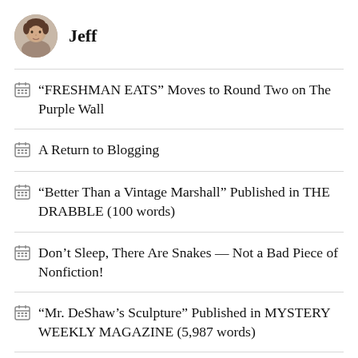Jeff
“FRESHMAN EATS” Moves to Round Two on The Purple Wall
A Return to Blogging
“Better Than a Vintage Marshall” Published in THE DRABBLE (100 words)
Don’t Sleep, There Are Snakes — Not a Bad Piece of Nonfiction!
“Mr. DeShaw’s Sculpture” Published in MYSTERY WEEKLY MAGAZINE (5,987 words)